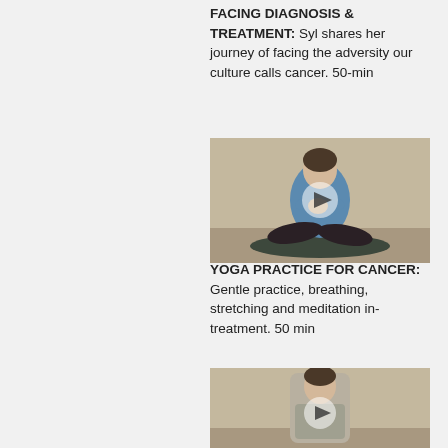FACING DIAGNOSIS & TREATMENT: Syl shares her journey of facing the adversity our culture calls cancer. 50-min
[Figure (photo): Person in blue long-sleeve top sitting cross-legged on a yoga mat, hands on chest, against a beige wall. Video play button overlay.]
YOGA PRACTICE FOR CANCER: Gentle practice, breathing, stretching and meditation in-treatment. 50 min
[Figure (photo): Person standing against a beige wall, partially visible, yoga setting. Video play button overlay.]